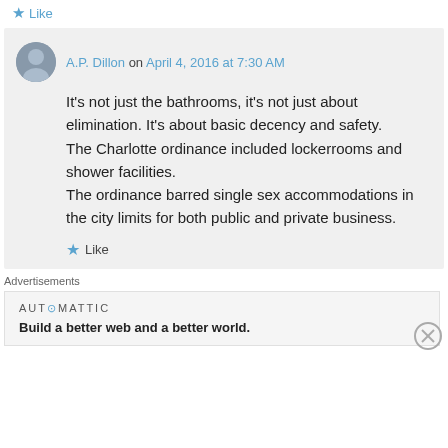Like
A.P. Dillon on April 4, 2016 at 7:30 AM
It's not just the bathrooms, it's not just about elimination. It's about basic decency and safety.
The Charlotte ordinance included lockerrooms and shower facilities.
The ordinance barred single sex accommodations in the city limits for both public and private business.
Like
Advertisements
AUTOMATTIC
Build a better web and a better world.